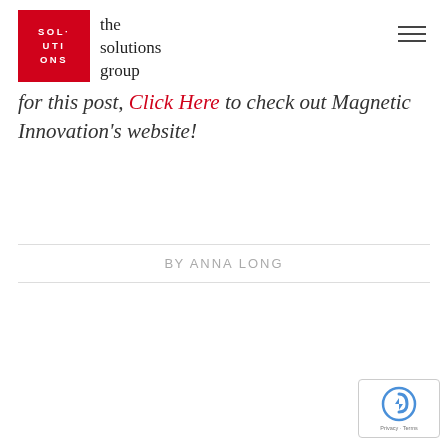the solutions group
for this post, Click Here to check out Magnetic Innovation's website!
BY ANNA LONG
[Figure (logo): reCAPTCHA badge with Privacy and Terms text]